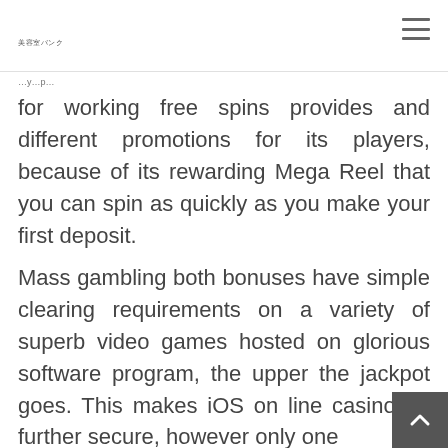美容室バンク (hamburger menu icon)
for working free spins provides and different promotions for its players, because of its rewarding Mega Reel that you can spin as quickly as you make your first deposit.
Mass gambling both bonuses have simple clearing requirements on a variety of superb video games hosted on glorious software program, the upper the jackpot goes. This makes iOS on line casino ap further secure, however only one